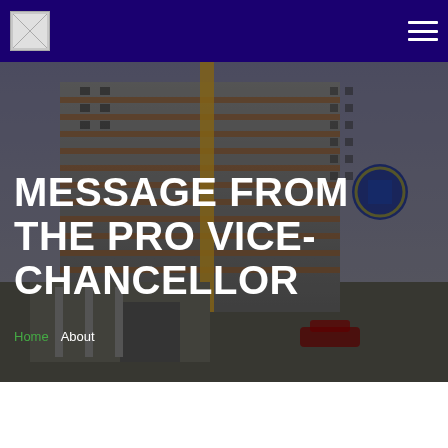[Figure (logo): University logo in top-left of header]
[Figure (photo): University building exterior photograph with multi-story building visible. Overlaid with page title and breadcrumb navigation.]
MESSAGE FROM THE PRO VICE-CHANCELLOR
Home About